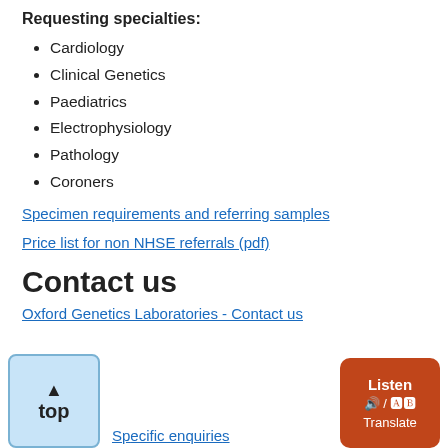Requesting specialties:
Cardiology
Clinical Genetics
Paediatrics
Electrophysiology
Pathology
Coroners
Specimen requirements and referring samples
Price list for non NHSE referrals (pdf)
Contact us
Oxford Genetics Laboratories - Contact us
Specific enquiries